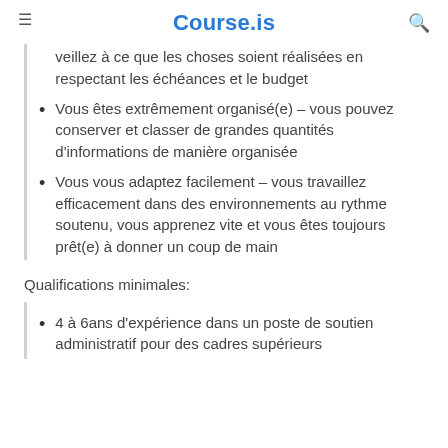Course.is
veillez à ce que les choses soient réalisées en respectant les échéances et le budget
Vous êtes extrêmement organisé(e) – vous pouvez conserver et classer de grandes quantités d'informations de manière organisée
Vous vous adaptez facilement – vous travaillez efficacement dans des environnements au rythme soutenu, vous apprenez vite et vous êtes toujours prêt(e) à donner un coup de main
Qualifications minimales:
4 à 6ans d'expérience dans un poste de soutien administratif pour des cadres supérieurs